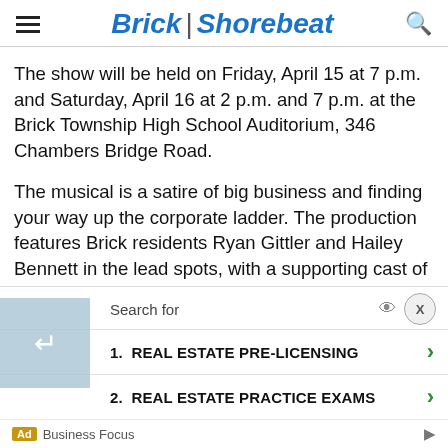Brick | Shorebeat
The show will be held on Friday, April 15 at 7 p.m. and Saturday, April 16 at 2 p.m. and 7 p.m. at the Brick Township High School Auditorium, 346 Chambers Bridge Road.
The musical is a satire of big business and finding your way up the corporate ladder. The production features Brick residents Ryan Gittler and Hailey Bennett in the lead spots, with a supporting cast of Alyssa Hajeski, Michael Troncone, George Mageri, Annie Castoro, Evan Urspruch, Michael Luckhowec and Co...iale enser... ner... and
[Figure (screenshot): Advertisement overlay with search suggestions: 1. REAL ESTATE PRE-LICENSING, 2. REAL ESTATE PRACTICE EXAMS. Ad by Business Focus.]